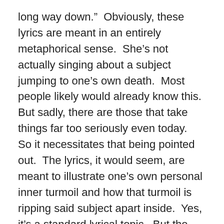long way down.”  Obviously, these lyrics are meant in an entirely metaphorical sense.  She’s not actually singing about a subject jumping to one’s own death.  Most people likely would already know this.  But sadly, there are those that take things far too seriously even today.  So it necessitates that being pointed out.  The lyrics, it would seem, are meant to illustrate one’s own personal inner turmoil and how that turmoil is ripping said subject apart inside.  Yes, it’s a standard lyrical topic.  But the manner in which Rodriguez and Karamitroudis capture the song’s emotion is what makes it well worth the listen.  It is of course just one more of so many songs on I Am The Fire that makes this album one that every rock and hard rock purist should experience at least once before 2014 ends.  Gus G.’s European fans will get to hear his new music live as he kicks off his ““Unity 1” tour tomorrow, March 7ᵗʰ with